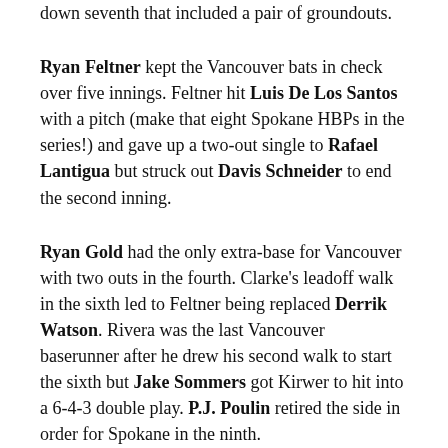down seventh that included a pair of groundouts.
Ryan Feltner kept the Vancouver bats in check over five innings. Feltner hit Luis De Los Santos with a pitch (make that eight Spokane HBPs in the series!) and gave up a two-out single to Rafael Lantigua but struck out Davis Schneider to end the second inning.
Ryan Gold had the only extra-base for Vancouver with two outs in the fourth. Clarke's leadoff walk in the sixth led to Feltner being replaced Derrik Watson. Rivera was the last Vancouver baserunner after he drew his second walk to start the sixth but Jake Sommers got Kirwer to hit into a 6-4-3 double play. P.J. Poulin retired the side in order for Spokane in the ninth.